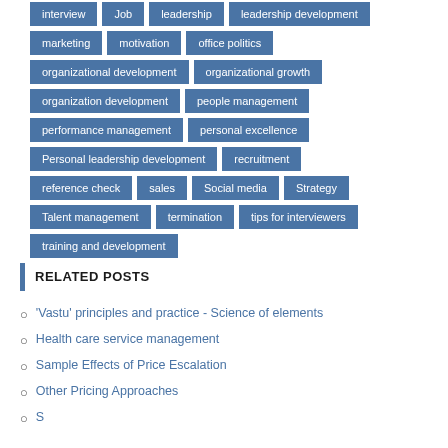interview
job
leadership
leadership development
marketing
motivation
office politics
organizational development
organizational growth
organization development
people management
performance management
personal excellence
Personal leadership development
recruitment
reference check
sales
Social media
Strategy
Talent management
termination
tips for interviewers
training and development
RELATED POSTS
'Vastu' principles and practice - Science of elements
Health care service management
Sample Effects of Price Escalation
Other Pricing Approaches